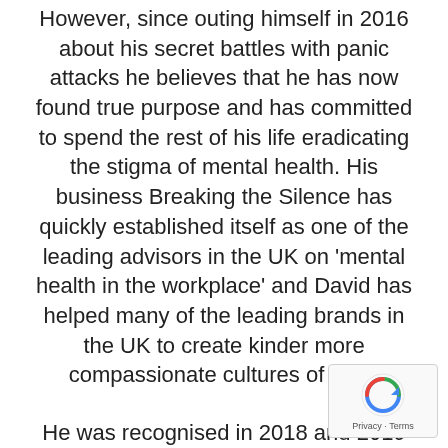However, since outing himself in 2016 about his secret battles with panic attacks he believes that he has now found true purpose and has committed to spend the rest of his life eradicating the stigma of mental health. His business Breaking the Silence has quickly established itself as one of the leading advisors in the UK on 'mental health in the workplace' and David has helped many of the leading brands in the UK to create kinder more compassionate cultures of trust.
He was recognised in 2018 and 2019 as one of the top 101 influencers